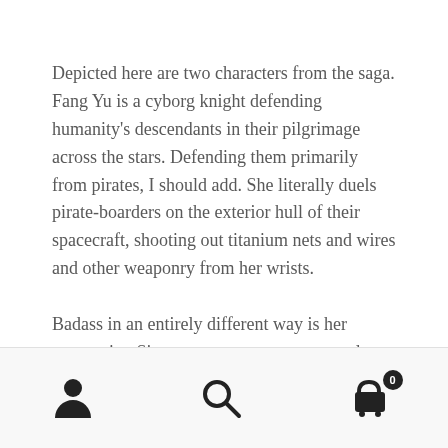Depicted here are two characters from the saga. Fang Yu is a cyborg knight defending humanity's descendants in their pilgrimage across the stars. Defending them primarily from pirates, I should add. She literally duels pirate-boarders on the exterior hull of their spacecraft, shooting out titanium nets and wires and other weaponry from her wrists.
Badass in an entirely different way is her companion Siwatu, a necromancer rescued from the hold of an interstellar pirate ship. Trained on Old Earth, Siwatu can give rest to angry ghosts, singing them lullabies in the